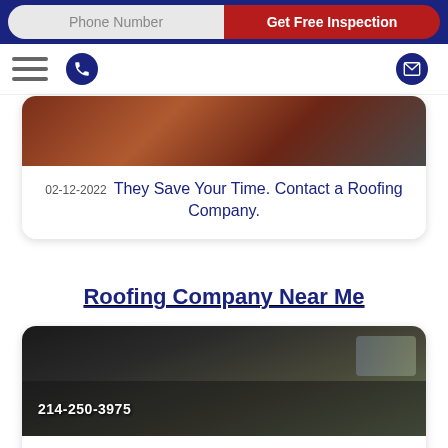Phone Number | Get Free Inspection
[Figure (screenshot): Navigation icon row with hamburger menu, phone icon circle, and email icon circle]
[Figure (photo): Partially visible photo of a rooftop]
02-12-2022 They Save Your Time. Contact a Roofing Company.
Roofing Company Near Me
[Figure (photo): Photo of a black truck with text 214-250-3975 on the side parked in a driveway]
02-5-2022 When Do I Need to Contact